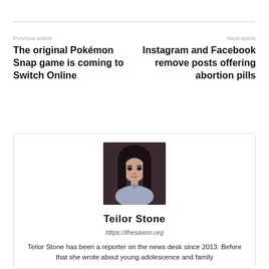Previous article
The original Pokémon Snap game is coming to Switch Online
Next article
Instagram and Facebook remove posts offering abortion pills
[Figure (photo): Portrait photo of Teilor Stone, a young woman with long dark hair wearing a light blue blazer, against a dark background]
Teilor Stone
https://thesaxon.org
Teilor Stone has been a reporter on the news desk since 2013. Before that she wrote about young adolescence and family